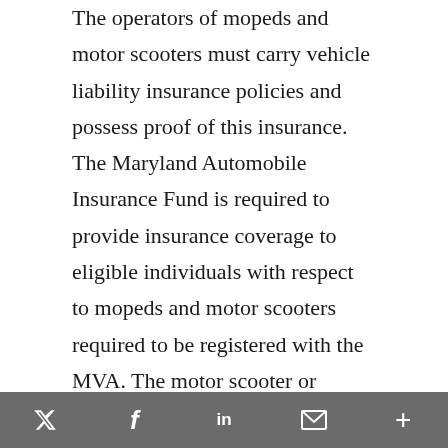The operators of mopeds and motor scooters must carry vehicle liability insurance policies and possess proof of this insurance. The Maryland Automobile Insurance Fund is required to provide insurance coverage to eligible individuals with respect to mopeds and motor scooters required to be registered with the MVA. The motor scooter or moped rider must wear protective headgear and, if the vehicle does not have a windscreen, an eye-protection device.
The MVA must waive the fee for titling a moped or motor scooter for an individual
Twitter Facebook LinkedIn Email +